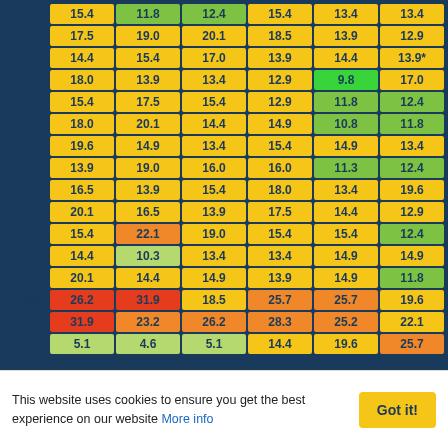| Year | Col1 | Col2 | Col3 | Col4 | Col5 | Col6 |
| --- | --- | --- | --- | --- | --- | --- |
| 2021 | 15.4 | 11.8 | 12.4 | 15.4 | 13.4 | 13.4 |
| 2020 | 17.5 | 19.0 | 20.1 | 18.5 | 13.9 | 12.9 |
| 2019 | 14.4 | 15.4 | 17.0 | 13.9 | 14.4 | 13.9* |
| 2018 | 18.0 | 13.9 | 13.4 | 12.9 | 9.8 | 17.0 |
| 2017 | 15.4 | 17.5 | 15.4 | 12.9 | 11.8 | 12.4 |
| 2016 | 18.0 | 20.1 | 14.4 | 14.9 | 10.8 | 11.8 |
| 2015 | 19.6 | 14.9 | 13.4 | 15.4 | 14.9 | 13.4 |
| 2014 | 13.9 | 19.0 | 16.0 | 16.0 | 11.3 | 12.4 |
| 2013 | 16.5 | 13.9 | 15.4 | 18.0 | 13.4 | 19.6 |
| 2012 | 20.1 | 16.5 | 13.9 | 17.5 | 14.4 | 12.9 |
| 2011 | 15.4 | 22.1 | 19.0 | 15.4 | 15.4 | 12.4 |
| 2010 | 14.4 | 10.3 | 13.4 | 13.4 | 14.9 | 14.9 |
| 2009 | 20.1 | 14.4 | 14.9 | 13.9 | 14.9 | 11.8 |
| 2008 | 26.2 | 31.9 | 18.5 | 25.7 | 25.7 | 19.6 |
| 2007 | 31.9 | 23.2 | 26.2 | 28.3 | 25.2 | 22.1 |
| 2006 | 5.1 | 4.6 | 5.1 | 14.4 | 19.6 | 25.7 |
This website uses cookies to ensure you get the best experience on our website More info